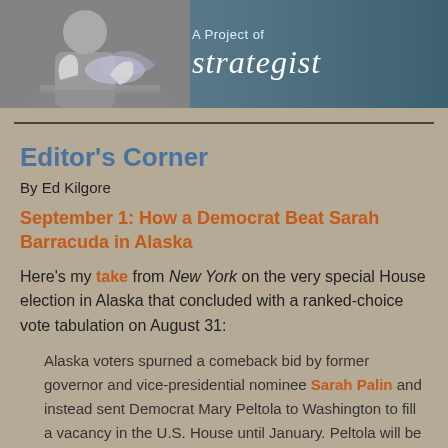[Figure (photo): Banner image showing a person washing/preparing food on the left, overlaid with a blue-gray panel on the right reading 'A Project of' and 'strategist' in large italic text]
Editor's Corner
By Ed Kilgore
September 1: How a Democrat Beat Sarah Barracuda in Alaska
Here's my take from New York on the very special House election in Alaska that concluded with a ranked-choice vote tabulation on August 31:
Alaska voters spurned a comeback bid by former governor and vice-presidential nominee Sarah Palin and instead sent Democrat Mary Peltola to Washington to fill a vacancy in the U.S. House until January. Peltola will be the first woman and the first Alaska Native to hold the